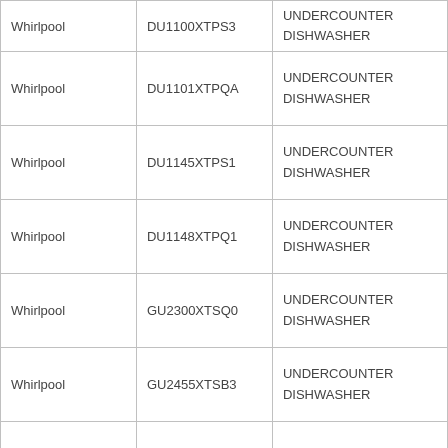| Brand | Model | Type |
| --- | --- | --- |
| Whirlpool | DU1100XTPS3 | UNDERCOUNTER DISHWASHER |
| Whirlpool | DU1101XTPQA | UNDERCOUNTER DISHWASHER |
| Whirlpool | DU1145XTPS1 | UNDERCOUNTER DISHWASHER |
| Whirlpool | DU1148XTPQ1 | UNDERCOUNTER DISHWASHER |
| Whirlpool | GU2300XTSQ0 | UNDERCOUNTER DISHWASHER |
| Whirlpool | GU2455XTSB3 | UNDERCOUNTER DISHWASHER |